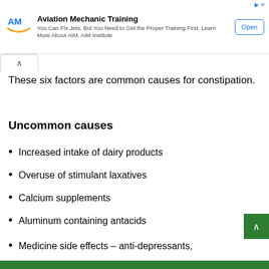[Figure (other): Advertisement banner for Aviation Mechanic Training by AIM Institute with logo, text, and Open button]
These six factors are common causes for constipation.
Uncommon causes
Increased intake of dairy products
Overuse of stimulant laxatives
Calcium supplements
Aluminum containing antacids
Medicine side effects – anti-depressants,